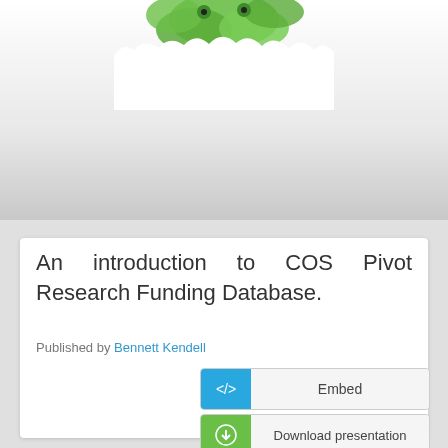[Figure (illustration): Decorative illustration of green leaves/frog emerging from torn paper at the top of the page]
An introduction to COS Pivot Research Funding Database.
Published by Bennett Kendell
[Figure (infographic): Embed button with blue icon showing </> code symbol and grey label 'Embed']
[Figure (infographic): Download presentation button with green icon showing download arrow and grey label 'Download presentation']